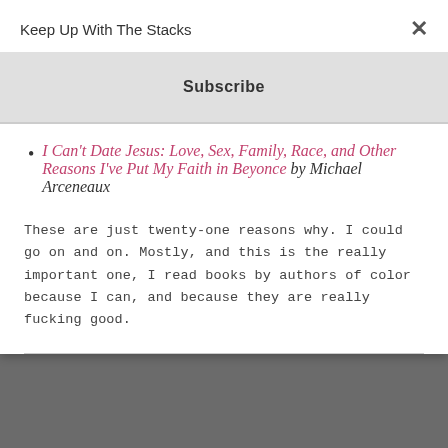Keep Up With The Stacks
Subscribe
I Can't Date Jesus: Love, Sex, Family, Race, and Other Reasons I've Put My Faith in Beyonce by Michael Arceneaux
These are just twenty-one reasons why. I could go on and on. Mostly, and this is the really important one, I read books by authors of color because I can, and because they are really fucking good.